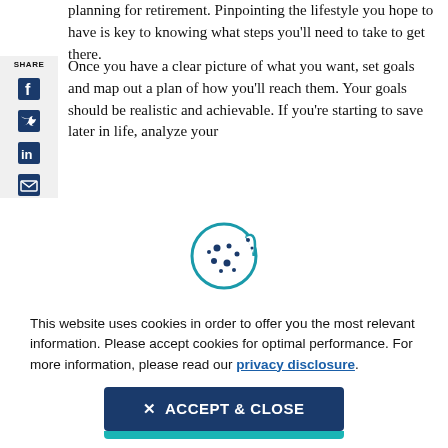planning for retirement. Pinpointing the lifestyle you hope to have is key to knowing what steps you'll need to take to get there.
Once you have a clear picture of what you want, set goals and map out a plan of how you'll reach them. Your goals should be realistic and achievable. If you're starting to save later in life, analyze your
[Figure (illustration): Cookie icon — a circular cookie with bite taken out, teal/dark blue outline with dots]
This website uses cookies in order to offer you the most relevant information. Please accept cookies for optimal performance. For more information, please read our privacy disclosure.